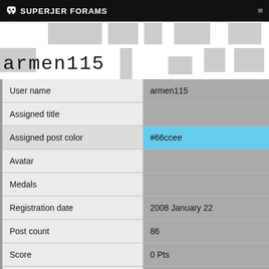SUPERJER FORAMS
armen115
| Field | Value |
| --- | --- |
| User name | armen115 |
| Assigned title |  |
| Assigned post color | #66ccee |
| Avatar |  |
| Medals |  |
| Registration date | 2008 January 22 |
| Post count | 86 |
| Score | 0 Pts |
| Location |  |